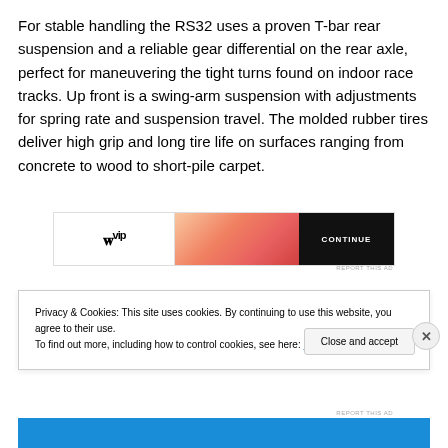For stable handling the RS32 uses a proven T-bar rear suspension and a reliable gear differential on the rear axle, perfect for maneuvering the tight turns found on indoor race tracks. Up front is a swing-arm suspension with adjustments for spring rate and suspension travel. The molded rubber tires deliver high grip and long tire life on surfaces ranging from concrete to wood to short-pile carpet.
[Figure (other): Advertisement banner with logo on left, gradient image center, and brand button on right]
REPORT THIS AD
Privacy & Cookies: This site uses cookies. By continuing to use this website, you agree to their use.
To find out more, including how to control cookies, see here: Cookie Policy
Close and accept